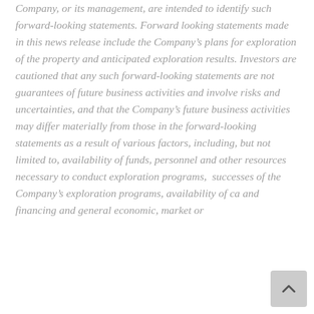Company, or its management, are intended to identify such forward-looking statements. Forward looking statements made in this news release include the Company's plans for exploration of the property and anticipated exploration results. Investors are cautioned that any such forward-looking statements are not guarantees of future business activities and involve risks and uncertainties, and that the Company's future business activities may differ materially from those in the forward-looking statements as a result of various factors, including, but not limited to, availability of funds, personnel and other resources necessary to conduct exploration programs,  successes of the Company's exploration programs, availability of ca and financing and general economic, market or industry conditions. These...